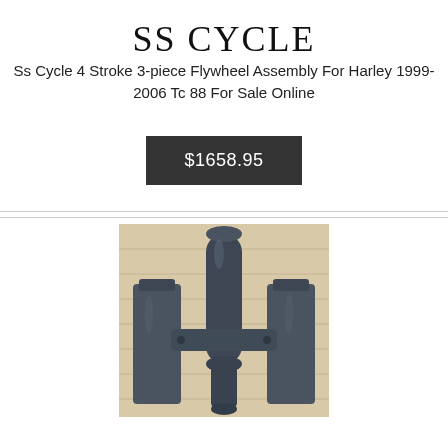SS CYCLE
Ss Cycle 4 Stroke 3-piece Flywheel Assembly For Harley 1999-2006 Tc 88 For Sale Online
$1658.95
[Figure (photo): Photo of a dark grey/black 3-piece flywheel assembly for Harley Davidson motorcycle, showing cylindrical and flat metal components arranged together, against a light wooden background.]